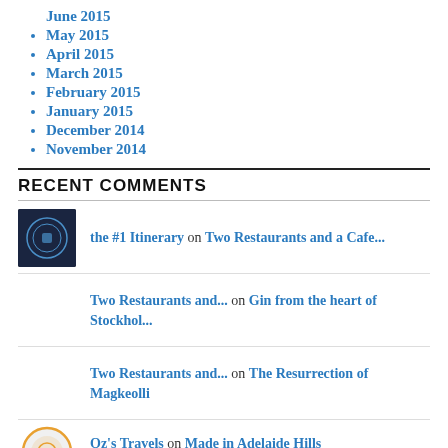June 2015
May 2015
April 2015
March 2015
February 2015
January 2015
December 2014
November 2014
RECENT COMMENTS
the #1 Itinerary on Two Restaurants and a Cafe...
Two Restaurants and... on Gin from the heart of Stockhol...
Two Restaurants and... on The Resurrection of Magkeolli
Oz's Travels on Made in Adelaide Hills